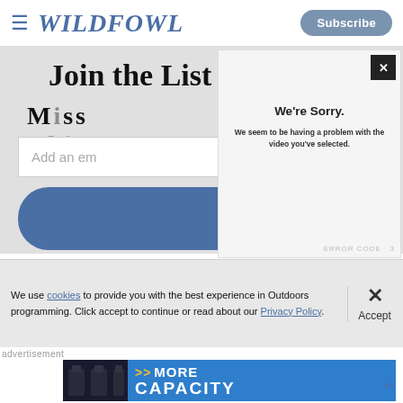WILDFOWL — Subscribe
Join the List and Never Miss This
Add an email
[Figure (screenshot): Video error overlay with close button (×), 'We're Sorry.' heading, and message 'We seem to be having a problem with the video you've selected.' with ERROR CODE at bottom]
We use cookies to provide you with the best experience in Outdoors programming. Click accept to continue or read about our Privacy Policy.
Accept
advertisement
[Figure (screenshot): Advertisement banner with gun magazines image on left, blue background with '>> MORE CAPACITY' text in white and yellow]